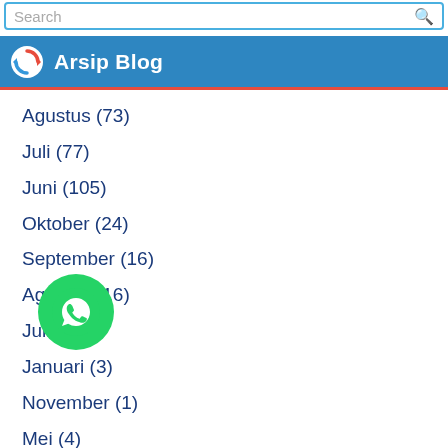Arsip Blog
Agustus (73)
Juli (77)
Juni (105)
Oktober (24)
September (16)
Agustus (16)
Juli (1)
Januari (3)
November (1)
Mei (4)
November (4)
Oktober (6)
September (35)
Agustus (8)
Juli (4)
Juni (2)